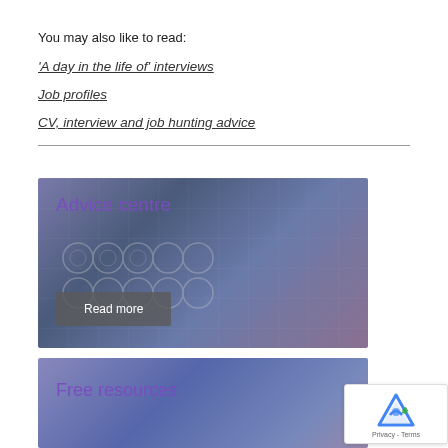You may also like to read:
'A day in the life of' interviews
Job profiles
CV, interview and job hunting advice
[Figure (photo): Advice centre card with purple-tinted background showing a person viewing brain scan monitors, with 'Advice centre' heading and 'Read more' button]
[Figure (photo): Free resources card with purple-tinted background showing a person with glasses, with 'Free resources' heading]